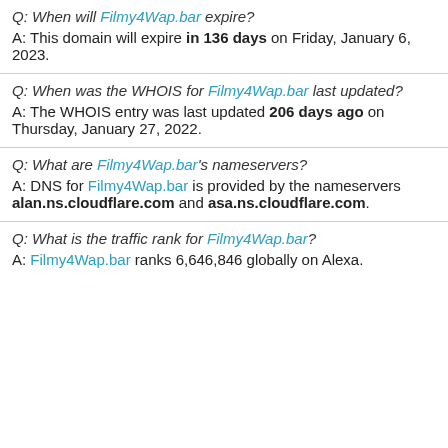Q: When will Filmy4Wap.bar expire?
A: This domain will expire in 136 days on Friday, January 6, 2023.
Q: When was the WHOIS for Filmy4Wap.bar last updated?
A: The WHOIS entry was last updated 206 days ago on Thursday, January 27, 2022.
Q: What are Filmy4Wap.bar's nameservers?
A: DNS for Filmy4Wap.bar is provided by the nameservers alan.ns.cloudflare.com and asa.ns.cloudflare.com.
Q: What is the traffic rank for Filmy4Wap.bar?
A: Filmy4Wap.bar ranks 6,646,846 globally on Alexa.